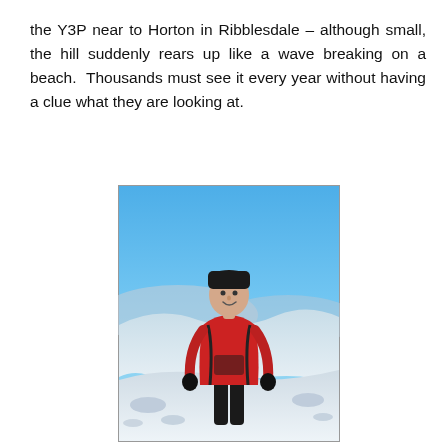the Y3P near to Horton in Ribblesdale – although small, the hill suddenly rears up like a wave breaking on a beach. Thousands must see it every year without having a clue what they are looking at.
[Figure (photo): A person in a red jacket and black hat standing on a snowy hilltop with a blue sky and snowy landscape behind them.]